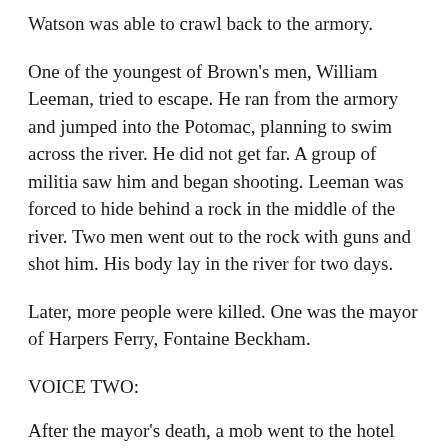Watson was able to crawl back to the armory.
One of the youngest of Brown's men, William Leeman, tried to escape. He ran from the armory and jumped into the Potomac, planning to swim across the river. He did not get far. A group of militia saw him and began shooting. Leeman was forced to hide behind a rock in the middle of the river. Two men went out to the rock with guns and shot him. His body lay in the river for two days.
Later, more people were killed. One was the mayor of Harpers Ferry, Fontaine Beckham.
VOICE TWO:
After the mayor's death, a mob went to the hotel where one of Brown's men had been held since he was seized